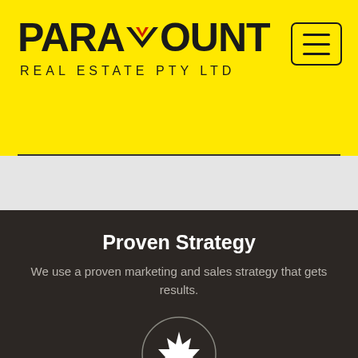[Figure (logo): Paramount Real Estate Pty Ltd logo with yellow background, bold black text 'PARAMOUNT' with a red/black chevron accent above the M, and 'REAL ESTATE PTY LTD' in spaced capital letters below]
[Figure (other): Hamburger menu button icon — three horizontal lines in a rounded rectangle border]
Proven Strategy
We use a proven marketing and sales strategy that gets results.
[Figure (illustration): A circular outlined icon containing a white star/burst/seal shape on a dark background]